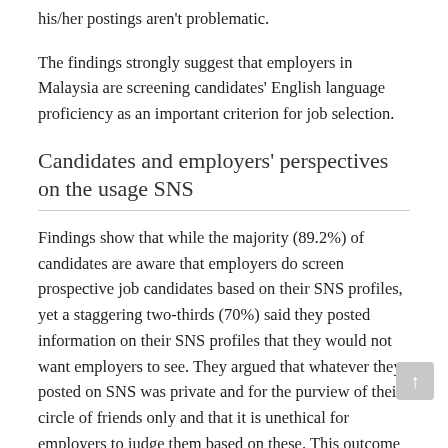his/her postings aren't problematic.
The findings strongly suggest that employers in Malaysia are screening candidates' English language proficiency as an important criterion for job selection.
Candidates and employers' perspectives on the usage SNS
Findings show that while the majority (89.2%) of candidates are aware that employers do screen prospective job candidates based on their SNS profiles, yet a staggering two-thirds (70%) said they posted information on their SNS profiles that they would not want employers to see. They argued that whatever they posted on SNS was private and for the purview of their circle of friends only and that it is unethical for employers to judge them based on these. This outcome concurs with the Root and Mckay (2014) who investigated college students' awareness of the usage of SNS by employers as a screening tool and found that students are aware that postings related to drugs usage, sexual behaviour, profanity would send a negative message to employers.
Furthermore, students in this study opined that the validity of the information posted, at times, might not be true and it is a stunt by them to gain visibility. Some of the respondents' views were that